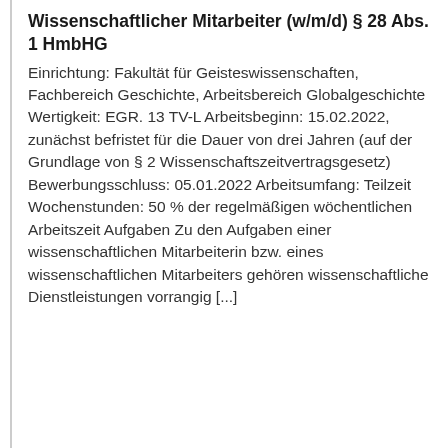Wissenschaftlicher Mitarbeiter (w/m/d) § 28 Abs. 1 HmbHG
Einrichtung: Fakultät für Geisteswissenschaften, Fachbereich Geschichte, Arbeitsbereich Globalgeschichte Wertigkeit: EGR. 13 TV-L Arbeitsbeginn: 15.02.2022, zunächst befristet für die Dauer von drei Jahren (auf der Grundlage von § 2 Wissenschaftszeitvertragsgesetz) Bewerbungsschluss: 05.01.2022 Arbeitsumfang: Teilzeit Wochenstunden: 50 % der regelmäßigen wöchentlichen Arbeitszeit Aufgaben Zu den Aufgaben einer wissenschaftlichen Mitarbeiterin bzw. eines wissenschaftlichen Mitarbeiters gehören wissenschaftliche Dienstleistungen vorrangig [...]